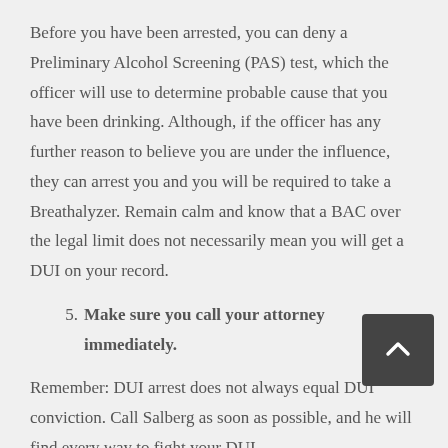Before you have been arrested, you can deny a Preliminary Alcohol Screening (PAS) test, which the officer will use to determine probable cause that you have been drinking. Although, if the officer has any further reason to believe you are under the influence, they can arrest you and you will be required to take a Breathalyzer. Remain calm and know that a BAC over the legal limit does not necessarily mean you will get a DUI on your record.
5. Make sure you call your attorney immediately.
Remember: DUI arrest does not always equal DUI conviction. Call Salberg as soon as possible, and he will find every way to fight your DUI.
In several cases, Salberg says that the state won't even